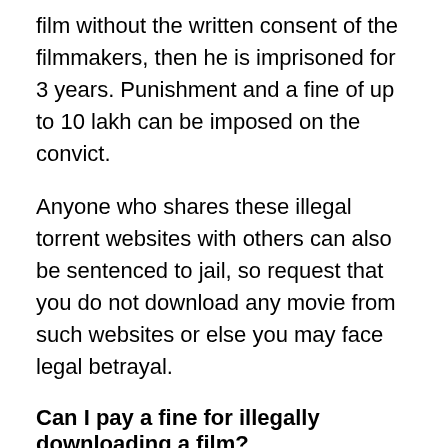film without the written consent of the filmmakers, then he is imprisoned for 3 years. Punishment and a fine of up to 10 lakh can be imposed on the convict.
Anyone who shares these illegal torrent websites with others can also be sentenced to jail, so request that you do not download any movie from such websites or else you may face legal betrayal.
Can I pay a fine for illegally downloading a film?
According to the piracy law brought by the Government of India, if a person illegally downloads a film From SkyMovieshd, or is found guilty of filming, it is proven that he has intentionally violated the cinematograph law and Moviesda and many copyright piracy websites have